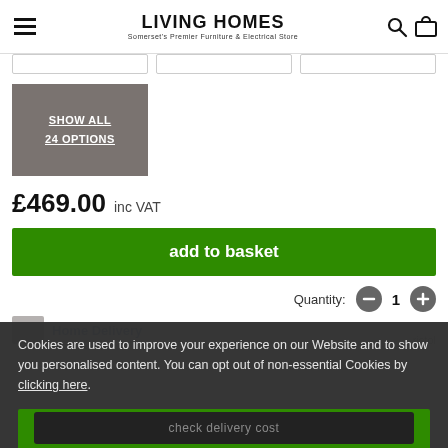LIVING HOMES — Somerset's Premier Furniture & Electrical Store
[Figure (screenshot): Grey option selector boxes (3 empty filter/option boxes in a row)]
SHOW ALL
24 OPTIONS
£469.00  inc VAT
add to basket
Quantity: − 1 +
Home Delivery
Cookies are used to improve your experience on our Website and to show you personalised content. You can opt out of non-essential Cookies by clicking here.
Accept and close
check delivery cost